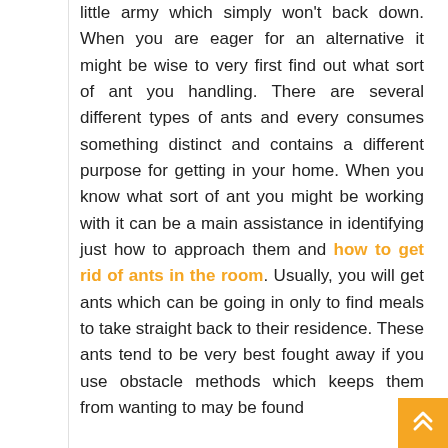little army which simply won't back down. When you are eager for an alternative it might be wise to very first find out what sort of ant you handling. There are several different types of ants and every consumes something distinct and contains a different purpose for getting in your home. When you know what sort of ant you might be working with it can be a main assistance in identifying just how to approach them and how to get rid of ants in the room. Usually, you will get ants which can be going in only to find meals to take straight back to their residence. These ants tend to be very best fought away if you use obstacle methods which keeps them from wanting to may be found